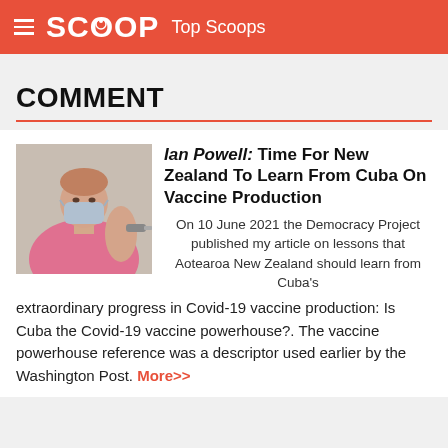SCOOP Top Scoops
COMMENT
[Figure (photo): Person in pink top and face mask receiving a vaccine injection in the upper arm.]
Ian Powell: Time For New Zealand To Learn From Cuba On Vaccine Production
On 10 June 2021 the Democracy Project published my article on lessons that Aotearoa New Zealand should learn from Cuba's extraordinary progress in Covid-19 vaccine production: Is Cuba the Covid-19 vaccine powerhouse?. The vaccine powerhouse reference was a descriptor used earlier by the Washington Post. More>>